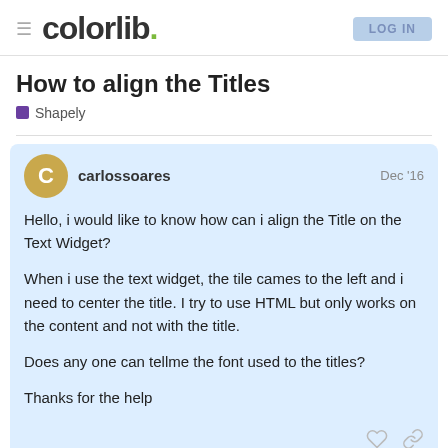colorlib. Log In
How to align the Titles
Shapely
carlossoares Dec '16

Hello, i would like to know how can i align the Title on the Text Widget?

When i use the text widget, the tile cames to the left and i need to center the title. I try to use HTML but only works on the content and not with the title.

Does any one can tellme the font used to the titles?

Thanks for the help